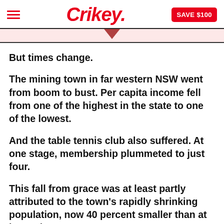Crikey. SAVE $100
But times change.
The mining town in far western NSW went from boom to bust. Per capita income fell from one of the highest in the state to one of the lowest.
And the table tennis club also suffered. At one stage, membership plummeted to just four.
This fall from grace was at least partly attributed to the town's rapidly shrinking population, now 40 percent smaller than at its peak.
In an obscure location, the table tennis club